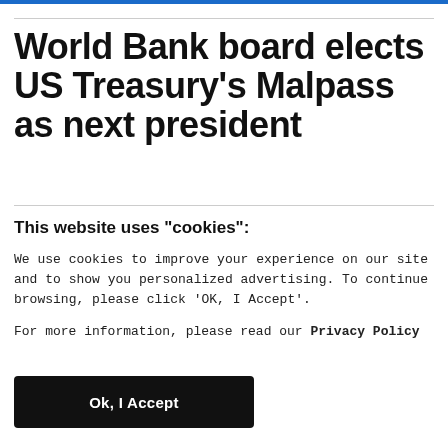World Bank board elects US Treasury's Malpass as next president
This website uses "cookies":
We use cookies to improve your experience on our site and to show you personalized advertising. To continue browsing, please click 'OK, I Accept'.
For more information, please read our Privacy Policy
Ok, I Accept